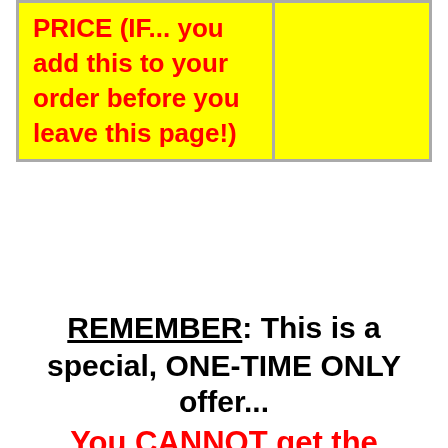| PRICE (IF... you add this to your order before you leave this page!) |  |
REMEMBER: This is a special, ONE-TIME ONLY offer... You CANNOT get the Advanced Unlock Your Hip Flexors program ANYWHERE ELSE